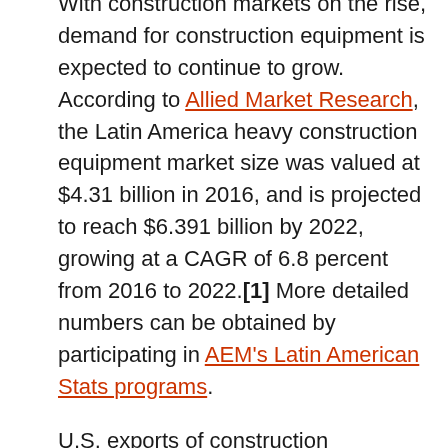With construction markets on the rise, demand for construction equipment is expected to continue to grow. According to Allied Market Research, the Latin America heavy construction equipment market size was valued at $4.31 billion in 2016, and is projected to reach $6.391 billion by 2022, growing at a CAGR of 6.8 percent from 2016 to 2022.[1] More detailed numbers can be obtained by participating in AEM's Latin American Stats programs.
U.S. exports of construction equipment to Mexico and South/Cental America totaled $2.7 billion in 2017, up 16.5 percent from 2016, following several years of declines.
Despite the cyclical challenges OEMs face time and again in key markets, Latin America continues to